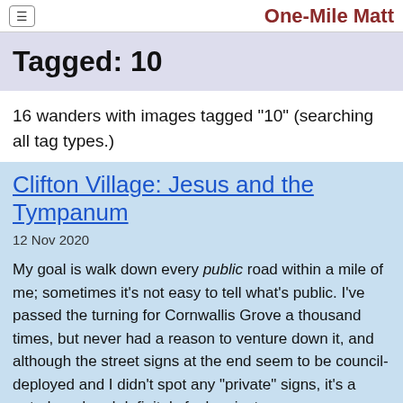One-Mile Matt
Tagged: 10
16 wanders with images tagged "10" (searching all tag types.)
Clifton Village: Jesus and the Tympanum
12 Nov 2020
My goal is walk down every public road within a mile of me; sometimes it's not easy to tell what's public. I've passed the turning for Cornwallis Grove a thousand times, but never had a reason to venture down it, and although the street signs at the end seem to be council-deployed and I didn't spot any "private" signs, it's a gated road and definitely feels private.
Gathering all the white middle-class privilege I could muster, I wandered down and was rewarded with the sight of a Victorian pump, a statue of Jesus, and from the